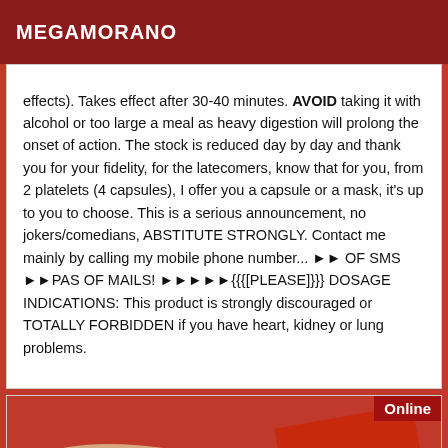MEGAMORANO
effects). Takes effect after 30-40 minutes. AVOID taking it with alcohol or too large a meal as heavy digestion will prolong the onset of action. The stock is reduced day by day and thank you for your fidelity, for the latecomers, know that for you, from 2 platelets (4 capsules), I offer you a capsule or a mask, it's up to you to choose. This is a serious announcement, no jokers/comedians, ABSTITUTE STRONGLY. Contact me mainly by calling my mobile phone number... ►► OF SMS ►►PAS OF MAILS! ►►►►►{{{[PLEASE]}}} DOSAGE INDICATIONS: This product is strongly discouraged or TOTALLY FORBIDDEN if you have heart, kidney or lung problems.
[Figure (photo): Photo showing hands with a red object/packaging, with an 'Online' badge in the top right corner]